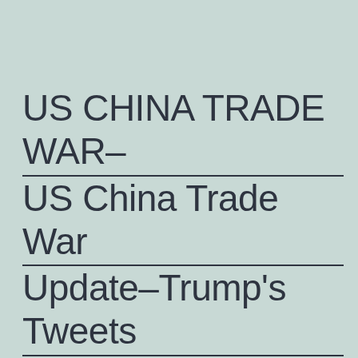US CHINA TRADE WAR–US China Trade War Update–Trump's Tweets and Xi's Speech Calm the Trade War WatersTRADE WAR EXPANDS WITH US THREATENING TARIFFS $150 BILLION